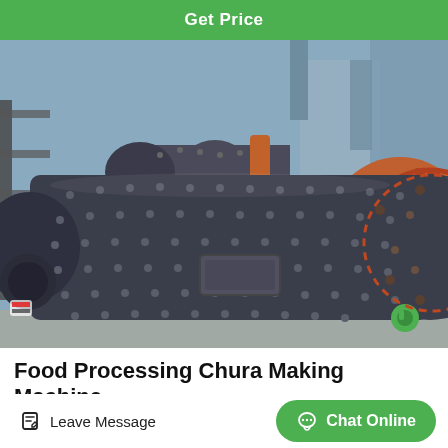Get Price
[Figure (photo): Industrial ball mill machine with large cylindrical drum covered in bolts/studs, orange gear wheel on right side, set in an outdoor industrial facility]
Food Processing Chura Making Machine
Leave Message  Chat Online